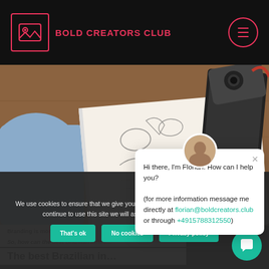BOLD CREATORS CLUB
[Figure (photo): Overhead photo of person drawing/sketching in a notebook on a wooden desk, with a camera and dark wallet/notebook nearby]
Branding is more than the p…
So, how can the best Brazilian influe…
The best Brazilian in…
We use cookies to ensure that we give you the best experience on our website. If you continue to use this site we will assume that you are happy with it.
Hi there, I'm Florian. How can I help you?
(for more information message me directly at florian@boldcreators.club or through +4915788312550)